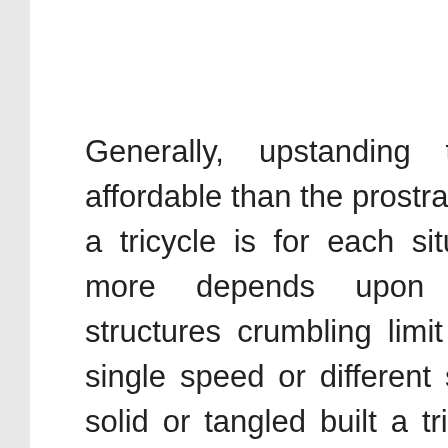Generally, upstanding tricycle is more affordable than the prostrate. The expense of a tricycle is for each situation significantly more depends upon the mechanical structures crumbling limit or not, materials, single speed or different speeds. The more solid or tangled built a tricycle is, the more the worth it cost. The most over the top tricycle would be those mutt/motorized tricycles. These machines usually will cost you in excess of thousand dollars and get the right electric tricycle.